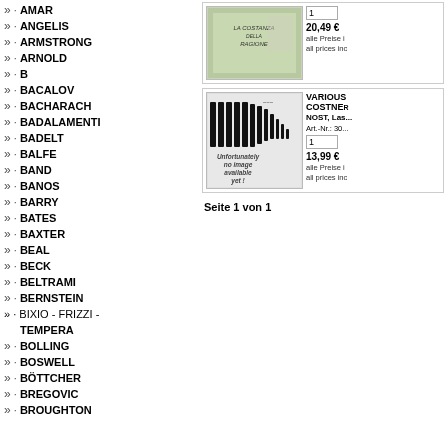» · AMAR
» · ANGELIS
» · ARMSTRONG
» · ARNOLD
» · B
» · BACALOV
» · BACHARACH
» · BADALAMENTI
» · BADELT
» · BALFE
» · BAND
» · BANOS
» · BARRY
» · BATES
» · BAXTER
» · BEAL
» · BECK
» · BELTRAMI
» · BERNSTEIN
» · BIXIO - FRIZZI - TEMPERA
» · BOLLING
» · BOSWELL
» · BÖTTCHER
» · BREGOVIC
» · BROUGHTON
[Figure (photo): Album cover for La Costanza della Ragione]
20,49 €
alle Preise i...
all prices inc...
[Figure (photo): Piano keys image with 'Unfortunately no image available yet!' text overlay, for VARIOUS / COSTNER product]
VARIOUS
COSTNER
NOST, Las...
Art.-Nr.: 30...
1
13,99 €
alle Preise i...
all prices inc...
Seite 1 von 1